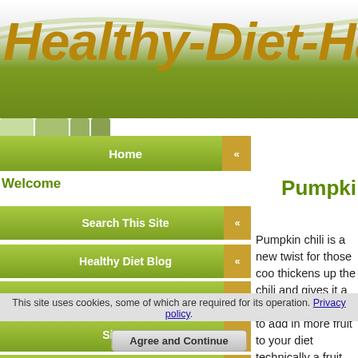Healthy-Diet-Hab
[Figure (screenshot): Website header with green swoosh curves and dark olive green banner bar]
Home
Welcome
Pumpki
Search This Site
Healthy Diet Blog
My Story
Site Map
Why We Eat
Pumpkin chili is a new twist for those coo... thickens up the chili and gives it a nice fla... allow you to add in more fruit to your diet... technically a fruit. Check Pumpkin Tips fo...
****
This site uses cookies, some of which are required for its operation. Privacy policy
Agree and Continue